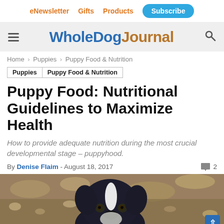eNewsletter  Gifts  Products  Subscribe
Whole Dog Journal
Home › Puppies › Puppy Food & Nutrition
Puppies  Puppy Food & Nutrition
Puppy Food: Nutritional Guidelines to Maximize Health
How to provide adequate nutrition during the most crucial developmental stage – puppyhood.
By Denise Flaim - August 18, 2017   💬 2
[Figure (photo): Close-up photo of a black and white puppy (Boxer breed) looking at the camera against a gravel/stone background]